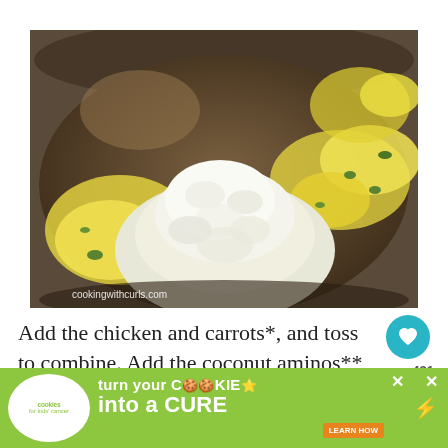[Figure (photo): Close-up photo of a wok/pan containing scrambled eggs with green onions and a mound of cauliflower rice or similar white crumbled ingredient. Watermark reads 'cookingwithcurls.com' in bottom left.]
Add the chicken and carrots*, and toss to combine. Add the coconut aminos**, salt
[Figure (infographic): Advertisement banner: 'Cookies for kids cancer - turn your COOKIES into a CURE LEARN HOW' on a green background with a white circular logo on the left.]